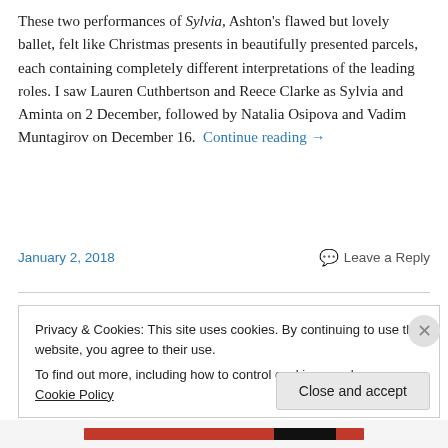These two performances of Sylvia, Ashton's flawed but lovely ballet, felt like Christmas presents in beautifully presented parcels, each containing completely different interpretations of the leading roles. I saw Lauren Cuthbertson and Reece Clarke as Sylvia and Aminta on 2 December, followed by Natalia Osipova and Vadim Muntagirov on December 16. Continue reading →
January 2, 2018    Leave a Reply
Privacy & Cookies: This site uses cookies. By continuing to use this website, you agree to their use.
To find out more, including how to control cookies, see here: Cookie Policy